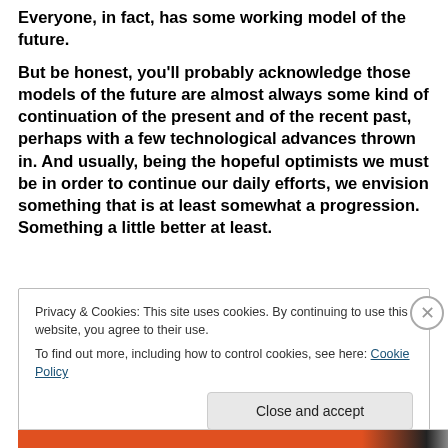Everyone, in fact, has some working model of the future.
But be honest, you'll probably acknowledge those models of the future are almost always some kind of continuation of the present and of the recent past, perhaps with a few technological advances thrown in. And usually, being the hopeful optimists we must be in order to continue our daily efforts, we envision something that is at least somewhat a progression. Something a little better at least.
Privacy & Cookies: This site uses cookies. By continuing to use this website, you agree to their use. To find out more, including how to control cookies, see here: Cookie Policy